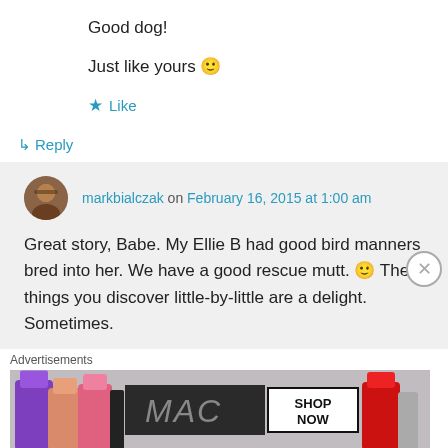Good dog!
Just like yours 🙂
★ Like
↳ Reply
markbialczak on February 16, 2015 at 1:00 am
Great story, Babe. My Ellie B had good bird manners bred into her. We have a good rescue mutt. 🙂 The things you discover little-by-little are a delight. Sometimes.
Advertisements
[Figure (photo): MAC Cosmetics advertisement banner showing lipsticks with SHOP NOW text]